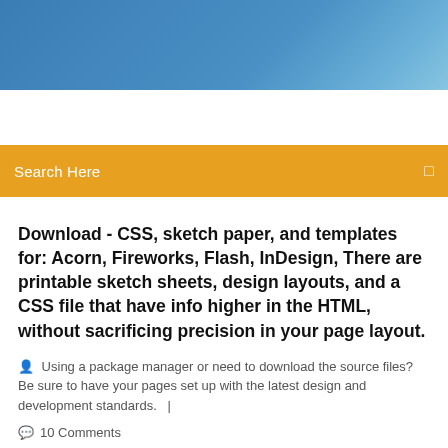[Figure (photo): Blue gradient header banner with sky/landscape tone]
Search Here
Download - CSS, sketch paper, and templates for: Acorn, Fireworks, Flash, InDesign, There are printable sketch sheets, design layouts, and a CSS file that have info higher in the HTML, without sacrificing precision in your page layout.
Using a package manager or need to download the source files? Be sure to have your pages set up with the latest design and development standards.   |
10 Comments